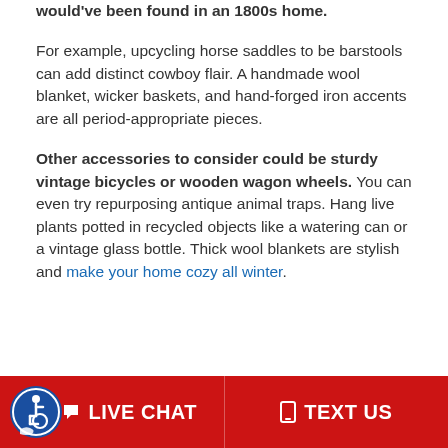would've been found in an 1800s home.
For example, upcycling horse saddles to be barstools can add distinct cowboy flair. A handmade wool blanket, wicker baskets, and hand-forged iron accents are all period-appropriate pieces.
Other accessories to consider could be sturdy vintage bicycles or wooden wagon wheels. You can even try repurposing antique animal traps. Hang live plants potted in recycled objects like a watering can or a vintage glass bottle. Thick wool blankets are stylish and make your home cozy all winter.
LIVE CHAT   TEXT US